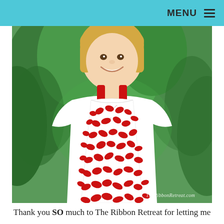MENU ≡
[Figure (photo): A young blonde girl smiling, wearing a white t-shirt under a red and white leaf-patterned pillowcase-style dress with red ribbon straps, standing in front of evergreen pine trees. Watermark reads 'TheRibbonRetreat.com']
Thank you SO much to The Ribbon Retreat for letting me